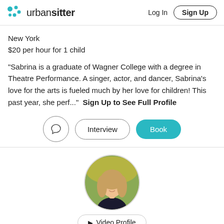urbansitter — Log In  Sign Up
New York
$20 per hour for 1 child
"Sabrina is a graduate of Wagner College with a degree in Theatre Performance. A singer, actor, and dancer, Sabrina's love for the arts is fueled much by her love for children! This past year, she perf..."  Sign Up to See Full Profile
[Figure (screenshot): Action buttons: speech bubble icon (circle), Interview button (pill outline), Book button (teal pill)]
[Figure (photo): Circular profile photo of a young woman with long blonde hair, smiling, outdoors with yellow flowers in background]
[Figure (other): Video Profile button with play arrow icon]
Sofia